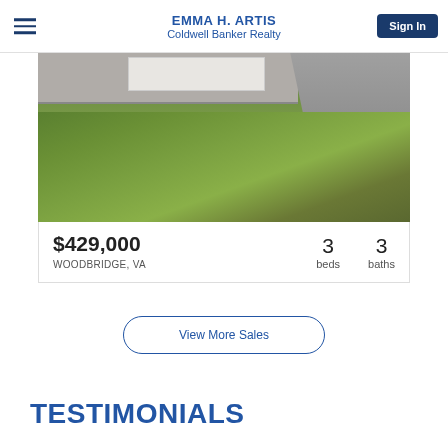EMMA H. ARTIS Coldwell Banker Realty
[Figure (photo): Exterior photo of a house showing green lawn, driveway, and garage]
$429,000 WOODBRIDGE, VA 3 beds 3 baths
View More Sales
TESTIMONIALS